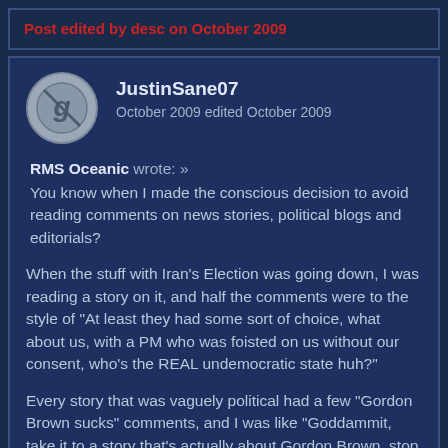Post edited by desc on October 2009
JustinSane07
October 2009 edited October 2009
RMS Oceanic wrote: »
You know when I made the conscious decision to avoid reading comments on news stories, political blogs and editorials?
When the stuff with Iran's Election was going down, I was reading a story on it, and half the comments were to the style of "At least they had some sort of choice, what about us, with a PM who was foisted on us without our consent, who's the REAL undemocratic state huh?"
Every story that was vaguely political had a few "Gordon Brown sucks" comments, and I was like "Goddammit, take it to a story that's actually about Gordon Brown, stop gunking up this important Iran